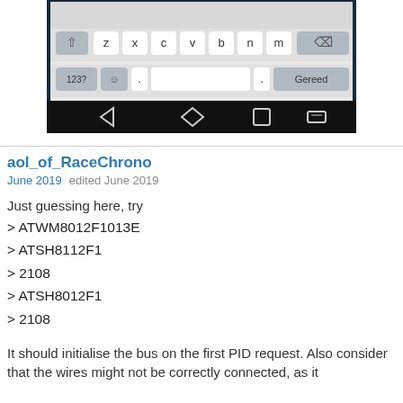[Figure (screenshot): Screenshot of an Android device showing a keyboard with keys z x c v b n m visible, 123? key, a 'Gereed' button, and Android navigation bar at the bottom.]
aol_of_RaceChrono
June 2019   edited June 2019
Just guessing here, try
> ATWM8012F1013E
> ATSH8112F1
> 2108
> ATSH8012F1
> 2108
It should initialise the bus on the first PID request. Also consider that the wires might not be correctly connected, as it